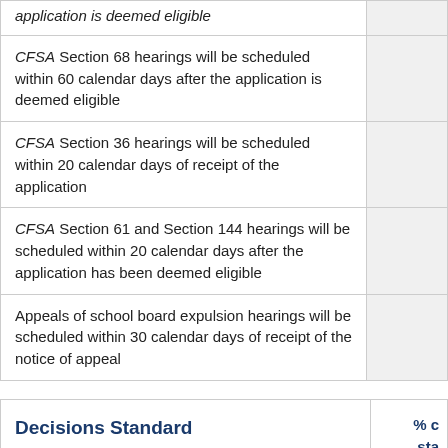| Scheduling Standard | % of cases meeting standard |
| --- | --- |
| application is deemed eligible |  |
| CFSA Section 68 hearings will be scheduled within 60 calendar days after the application is deemed eligible |  |
| CFSA Section 36 hearings will be scheduled within 20 calendar days of receipt of the application |  |
| CFSA Section 61 and Section 144 hearings will be scheduled within 20 calendar days after the application has been deemed eligible |  |
| Appeals of school board expulsion hearings will be scheduled within 30 calendar days of receipt of the notice of appeal |  |
| Decisions Standard | % of cases meeting standard |
| --- | --- |
| Appeals of school board expulsion orders will be issued within 10 calendar days after the hearing |  |